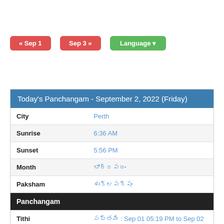« Sep 1
Sep 3 »
Language ▾
Today's Panchangam - September 2, 2022 (Friday)
| Field | Value |
| --- | --- |
| City | Perth |
| Sunrise | 6:36 AM |
| Sunset | 5:56 PM |
| Month | భాద్రపదం |
| Paksham | శుక్లపక్షం |
| Panchangam |  |
| Tithi | సప్తమి : Sep 01 05:19 PM to Sep 02 04:21 PM
అష్టమి : Sep 02 04:21 PM to Sep 03 02:58 PM |
| Nakshatram | అనూర: Sep 02 02:42 AM to Sep 03 02:17 AM
జ్యేష్ఠ: Sep 03 02:17 AM to Sep 04 01:27 AM |